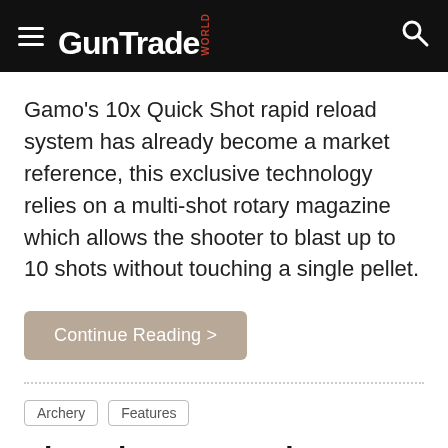GunTradeWorld
Gamo's 10x Quick Shot rapid reload system has already become a market reference, this exclusive technology relies on a multi-shot rotary magazine which allows the shooter to blast up to 10 shots without touching a single pellet.
Continue Reading >
Archery
Features
Ek Archery's Development of Crossbows for Women